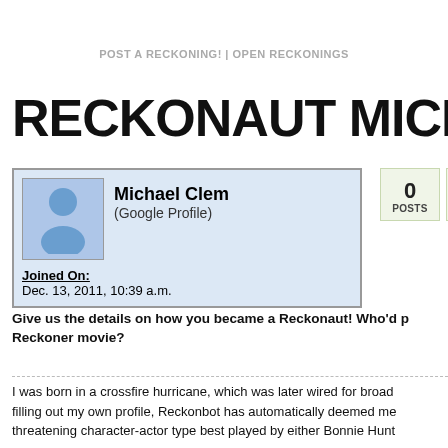POST A RECKONING! | OPEN RECKONINGS
RECKONAUT MICHAEL
Michael Clem
(Google Profile)
Joined On:
Dec. 13, 2011, 10:39 a.m.
0
POSTS
125
VOTES
Give us the details on how you became a Reckonaut! Who'd p Reckoner movie?
I was born in a crossfire hurricane, which was later wired for broad filling out my own profile, Reckonbot has automatically deemed me threatening character-actor type best played by either Bonnie Hunt